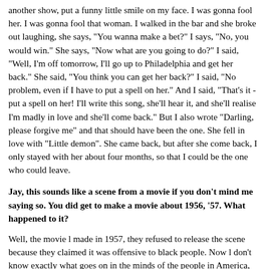another show, put a funny little smile on my face. I was gonna fool her. I was gonna fool that woman. I walked in the bar and she broke out laughing, she says, "You wanna make a bet?" I says, "No, you would win." She says, "Now what are you going to do?" I said, "Well, I'm off tomorrow, I'll go up to Philadelphia and get her back." She said, "You think you can get her back?" I said, "No problem, even if I have to put a spell on her." And I said, "That's it - put a spell on her! I'll write this song, she'll hear it, and she'll realise I'm madly in love and she'll come back." But I also wrote "Darling, please forgive me" and that should have been the one. She fell in love with "Little demon". She came back, but after she come back, I only stayed with her about four months, so that I could be the one who could leave.
Jay, this sounds like a scene from a movie if you don't mind me saying so. You did get to make a movie about 1956, '57. What happened to it?
Well, the movie l made in 1957, they refused to release the scene because they claimed it was offensive to black people. Now l don't know exactly what goes on in the minds of the people in America, but they didn't mind looking at "King Kong" and seeing all the natives running around. They don't mind looking at Tarzan and seeing all the natives running around. So l took a look at all the singers in the